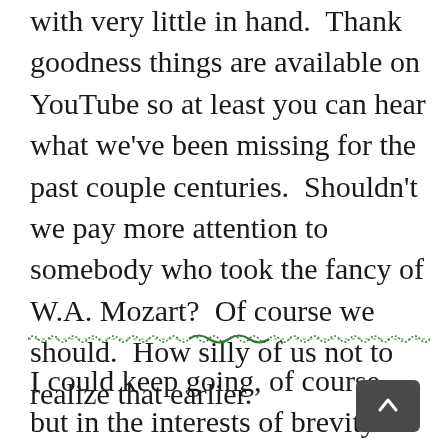with very little in hand.  Thank goodness things are available on YouTube so at least you can hear what we've been missing for the past couple centuries.  Shouldn't we pay more attention to somebody who took the fancy of W.A. Mozart?  Of course we should.  How silly of us not to realize that earlier.
I could keep going, of course, but in the interests of brevity I'll stop here.  Just